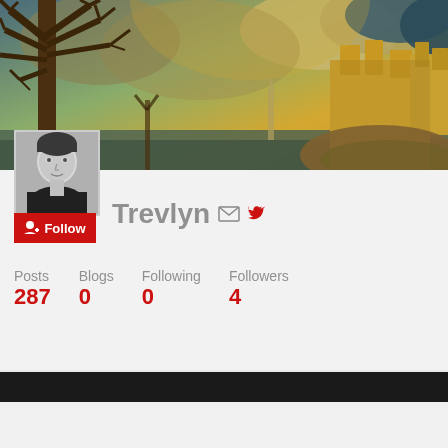[Figure (illustration): Fantasy banner image showing a bare tree on the left and a golden castle on rocky cliffs on the right, with dramatic golden cloudy sky]
[Figure (photo): Black and white profile photo of a man]
Follow
Trevlyn
Posts 287  Blogs 0  Following 0  Followers 4